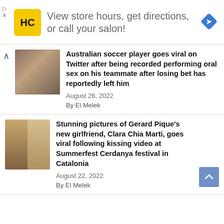[Figure (infographic): Advertisement banner: HC logo (yellow square with HC text), text 'View store hours, get directions, or call your salon!', blue diamond navigation icon on right]
Australian soccer player goes viral on Twitter after being recorded performing oral sex on his teammate after losing bet has reportedly left him
August 26, 2022
By El Melek
Stunning pictures of Gerard Pique’s new girlfriend, Clara Chia Marti, goes viral following kissing video at Summerfest Cerdanya festival in Catalonia
August 22, 2022
By El Melek